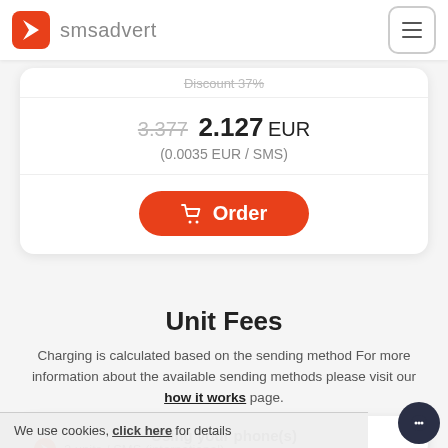smsadvert
Discount 37%
3.377 2.127 EUR
(0.0035 EUR / SMS)
Order
Unit Fees
Charging is calculated based on the sending method For more information about the available sending methods please visit our how it works page.
Using your phone(s)
We use cookies, click here for details
2 units / SMS (international)